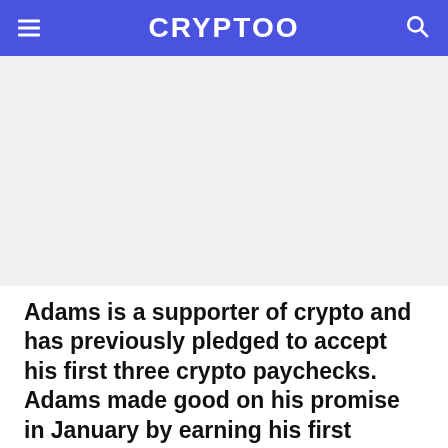CRYPTOO
Adams is a supporter of crypto and has previously pledged to accept his first three crypto paychecks. Adams made good on his promise in January by earning his first paycheck in Bitcoin (BTC) and Ethereum (ETH), even as the tokens